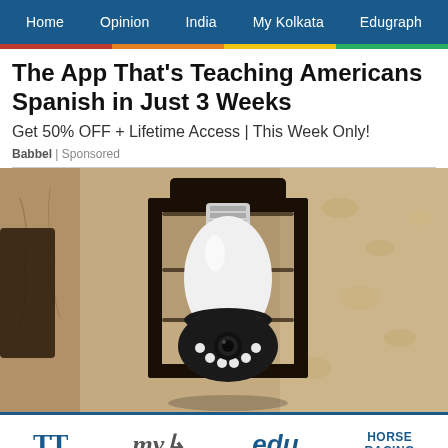Home | Opinion | India | My Kolkata | Edugraph
The App That's Teaching Americans Spanish in Just 3 Weeks
Get 50% OFF + Lifetime Access | This Week Only!
Babbel | Sponsored
[Figure (photo): A security camera shaped like a light bulb installed in an outdoor lantern fixture mounted on a textured stucco wall]
TT | my | edu | HORSE RACING